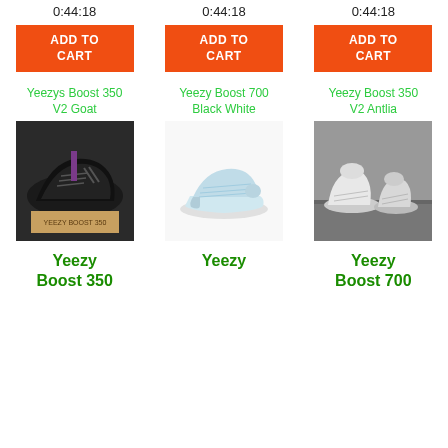0:44:18
0:44:18
0:44:18
ADD TO CART
ADD TO CART
ADD TO CART
Yeezys Boost 350 V2 Goat
[Figure (photo): Black Yeezy Boost 350 V2 sneakers on a box]
Yeezy Boost 700 Black White
[Figure (photo): Light blue Yeezy Boost 350 sneaker on white background]
Yeezy Boost 350 V2 Antlia
[Figure (photo): Two white Yeezy Boost 350 V2 Antlia sneakers on concrete shelf]
Yeezy Boost 350
Yeezy
Yeezy Boost 700